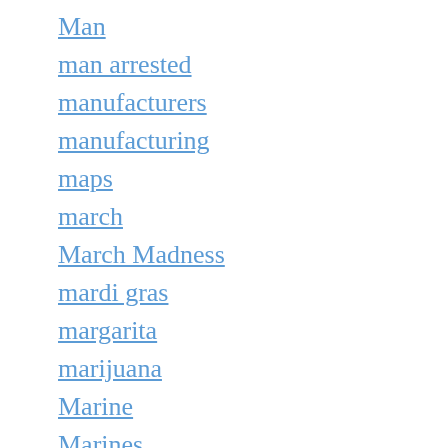Man
man arrested
manufacturers
manufacturing
maps
march
March Madness
mardi gras
margarita
marijuana
Marine
Marines
Mark Walker
marriage
married